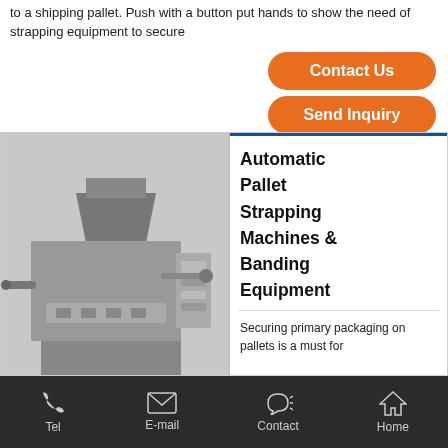to a shipping pallet. Push with a button put hands to show the need of strapping equipment to secure
[Figure (other): Orange rounded button labeled 'Contact Us']
[Figure (other): Orange rounded button labeled 'Send Inquiry']
[Figure (photo): Black and white photograph of an automatic pallet strapping machine with industrial components]
Automatic Pallet Strapping Machines & Banding Equipment
Securing primary packaging on pallets is a must for
Tel   E-mail   Contact   Home